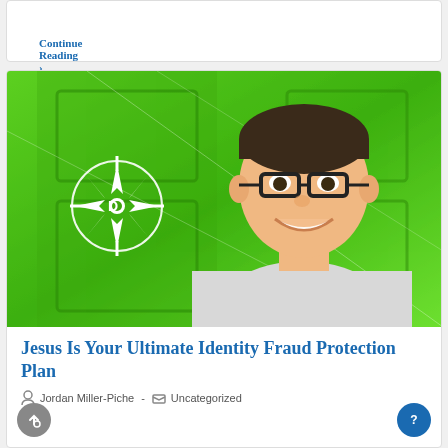Continue Reading ›
[Figure (photo): A smiling man with glasses wearing a grey t-shirt, photographed against a bright green door background with a white compass logo overlay and diagonal line design elements.]
Jesus Is Your Ultimate Identity Fraud Protection Plan
Jordan Miller-Piche  -  Uncategorized